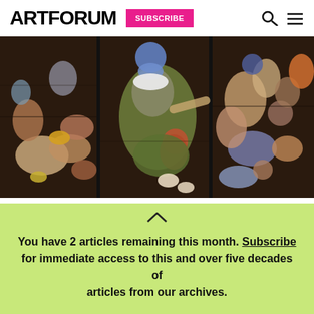ARTFORUM | SUBSCRIBE
[Figure (photo): Judith Schaechter, The Battle of Carnival and Lent, 2011-12, stained glass artwork showing chaotic figures in rich jewel tones divided into panels]
Judith Schaechter, The Battle of Carnival and Lent, 2011–12, stained glass, 56 x 56 x 2".
Judith Schaechter
You have 2 articles remaining this month. Subscribe for immediate access to this and over five decades of articles from our archives.